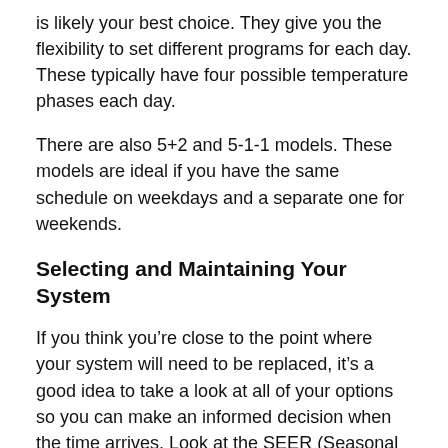is likely your best choice. They give you the flexibility to set different programs for each day. These typically have four possible temperature phases each day.
There are also 5+2 and 5-1-1 models. These models are ideal if you have the same schedule on weekdays and a separate one for weekends.
Selecting and Maintaining Your System
If you think you’re close to the point where your system will need to be replaced, it’s a good idea to take a look at all of your options so you can make an informed decision when the time arrives. Look at the SEER (Seasonal Energy Efficiency Ratio) rating of air conditioners and the AFUE (Annual Fuel Utilization Efficiency) of the furnaces. The higher